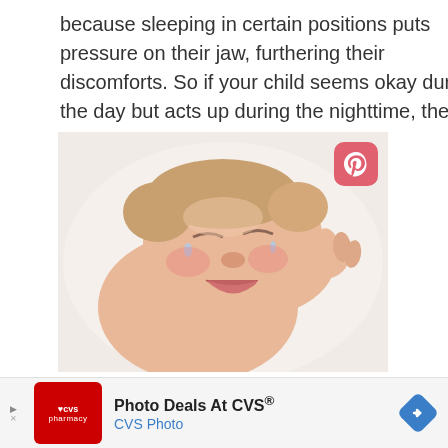because sleeping in certain positions puts pressure on their jaw, furthering their discomforts. So if your child seems okay during the day but acts up during the nighttime, the problem could be with their teething.
[Figure (photo): A crying baby lying on a white surface, rubbing its face with its hand, appearing distressed, with a Pinterest share button overlay in the top-right corner.]
Photo Deals At CVS® CVS Photo